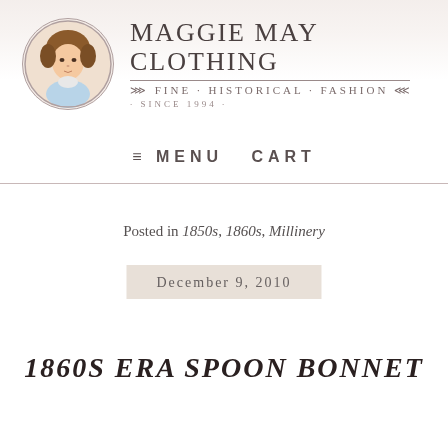[Figure (logo): Maggie May Clothing logo with circular portrait of a Victorian woman and brand name text with tagline 'Fine - Historical - Fashion - Since 1994']
≡ MENU  CART
Posted in 1850s, 1860s, Millinery
December 9, 2010
1860S ERA SPOON BONNET